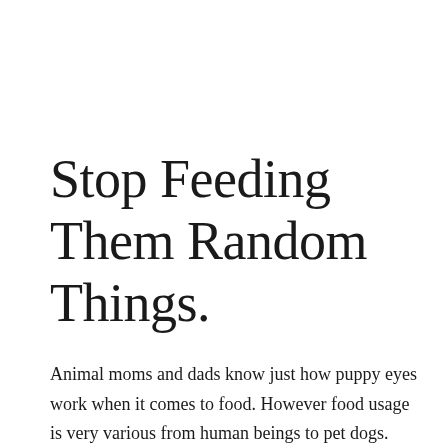Stop Feeding Them Random Things.
Animal moms and dads know just how puppy eyes work when it comes to food. However food usage is very various from human beings to pet dogs. Most of us understand exactly how chocolate should never ever be fed to dogs, but there are numerous other foods that look totally harmless however might seriously impact your pet dog's